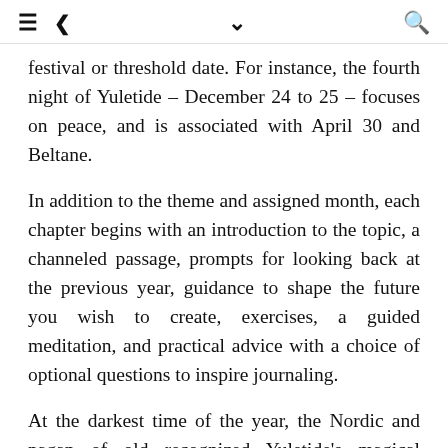≡  <  ∨  Q
festival or threshold date. For instance, the fourth night of Yuletide – December 24 to 25 – focuses on peace, and is associated with April 30 and Beltane.
In addition to the theme and assigned month, each chapter begins with an introduction to the topic, a channeled passage, prompts for looking back at the previous year, guidance to shape the future you wish to create, exercises, a guided meditation, and practical advice with a choice of optional questions to inspire journaling.
At the darkest time of the year, the Nordic and pagan of old recognized Yuletide's magical energy. This book can help readers make the most of the sacred time. Use the book as a guide for a twelve-day spiritual retreat, year